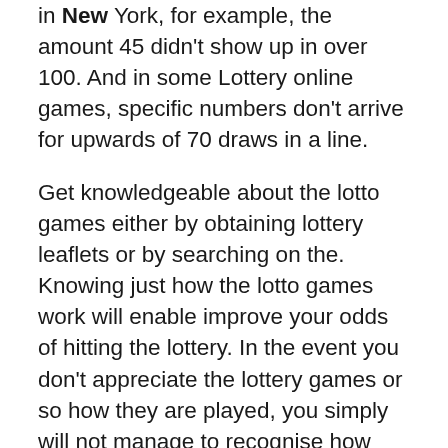in New York, for example, the amount 45 didn't show up in over 100. And in some Lottery online games, specific numbers don't arrive for upwards of 70 draws in a line.
Get knowledgeable about the lotto games either by obtaining lottery leaflets or by searching on the. Knowing just how the lotto games work will enable improve your odds of hitting the lottery. In the event you don't appreciate the lottery games or so how they are played, you simply will not manage to recognise how you may win every game. All stores that sell lottery tickets have lotto game pamphlets explaining every single game. You should also go online by searching the lottery internet site by using any online search engine.